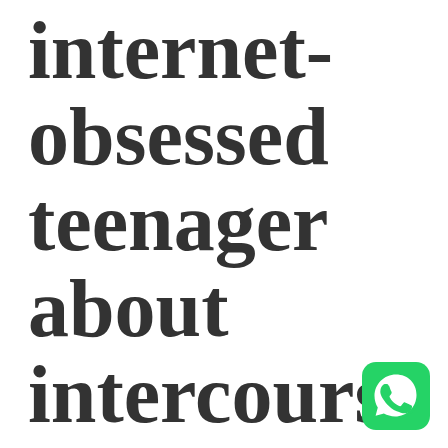internet-obsessed teenager about intercourse
[Figure (logo): WhatsApp logo icon — green rounded square with white phone/chat bubble icon]